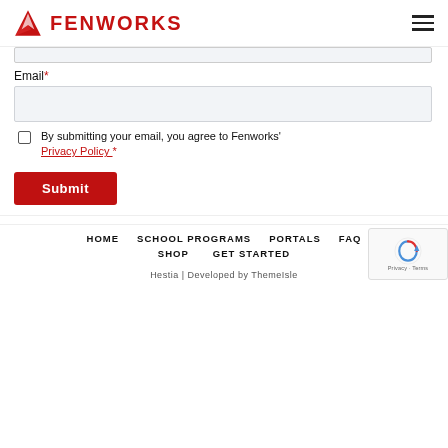FENWORKS
Email*
By submitting your email, you agree to Fenworks' Privacy Policy.*
Submit
HOME   SCHOOL PROGRAMS   PORTALS   FAQ   SHOP   GET STARTED
Hestia | Developed by ThemeIsle